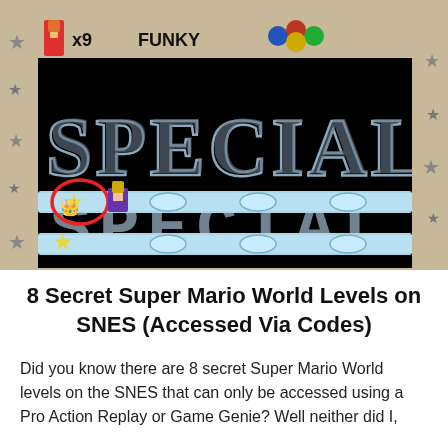[Figure (screenshot): Super Mario World SNES screenshot showing the Special World map screen with the word SPECIAL displayed in large pixel letters on a black background, SNES controller button icons at top, and map paths with star and Wario characters. A red circle highlights a star character on the map path.]
8 Secret Super Mario World Levels on SNES (Accessed Via Codes)
Did you know there are 8 secret Super Mario World levels on the SNES that can only be accessed using a Pro Action Replay or Game Genie? Well neither did I,